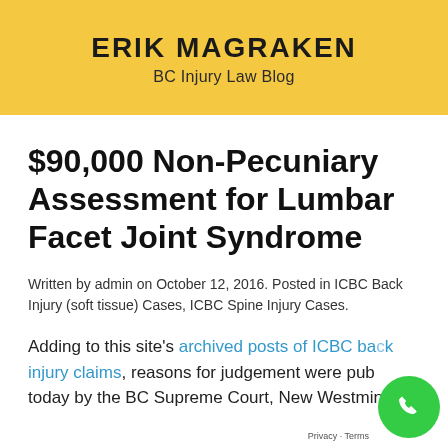ERIK MAGRAKEN
BC Injury Law Blog
$90,000 Non-Pecuniary Assessment for Lumbar Facet Joint Syndrome
Written by admin on October 12, 2016. Posted in ICBC Back Injury (soft tissue) Cases, ICBC Spine Injury Cases.
Adding to this site's archived posts of ICBC back injury claims, reasons for judgement were published today by the BC Supreme Court, New Westminster